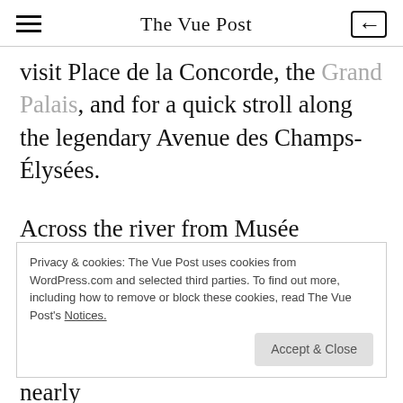The Vue Post
visit Place de la Concorde, the Grand Palais, and for a quick stroll along the legendary Avenue des Champs-Élysées.
Across the river from Musée D'Orsay is Le Louvre. You will find that a single day in Paris is insufficient to satisfactorily explore this spectacular museum that holds nearly 35,000 pieces of art and artefacts from
Privacy & cookies: The Vue Post uses cookies from WordPress.com and selected third parties. To find out more, including how to remove or block these cookies, read The Vue Post's Notices.
Accept & Close